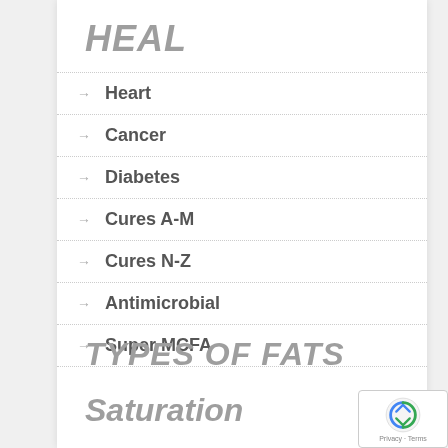HEAL
Heart
Cancer
Diabetes
Cures A-M
Cures N-Z
Antimicrobial
Super MCFA
TYPES OF FATS
Saturation